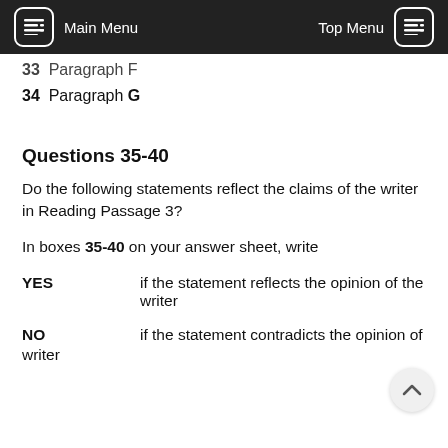Main Menu    Top Menu
33  Paragraph F
34  Paragraph G
Questions 35-40
Do the following statements reflect the claims of the writer in Reading Passage 3?
In boxes 35-40 on your answer sheet, write
YES    if the statement reflects the opinion of the writer
NO    if the statement contradicts the opinion of the writer